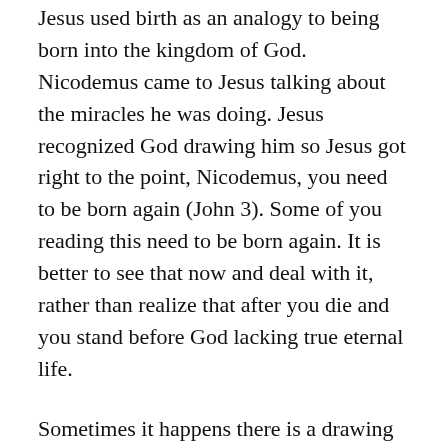Jesus used birth as an analogy to being born into the kingdom of God. Nicodemus came to Jesus talking about the miracles he was doing. Jesus recognized God drawing him so Jesus got right to the point, Nicodemus, you need to be born again (John 3). Some of you reading this need to be born again. It is better to see that now and deal with it, rather than realize that after you die and you stand before God lacking true eternal life.
Sometimes it happens there is a drawing together and a seed is planted, but because of the timing not being right, no connection with an egg occurs, so there is no life conceived. Sometimes a connection is made and there is growth and change but something goes wrong, and when this occurs before 20 weeks of pregnancy, it is known as a miscarriage. This same thing happens sometimes, but after 20 weeks of pregnancy, it is called a stillbirth. Sometimes a